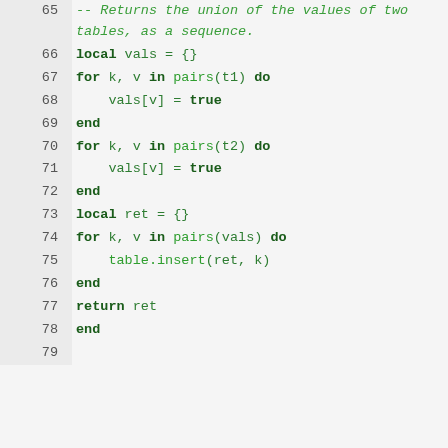Code listing lines 65-79: Lua function showing union of values of two tables as a sequence.